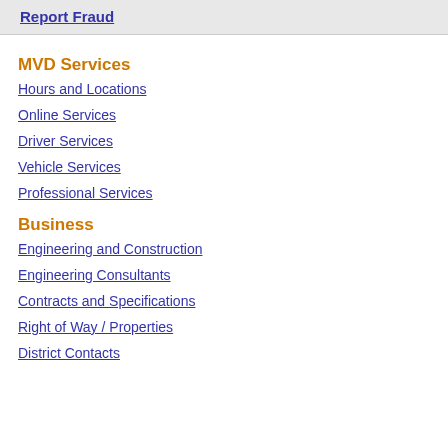Report Fraud
MVD Services
Hours and Locations
Online Services
Driver Services
Vehicle Services
Professional Services
Business
Engineering and Construction
Engineering Consultants
Contracts and Specifications
Right of Way / Properties
District Contacts